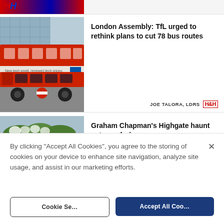[Figure (photo): Partial view of a red and blue logo (top of page, cropped)]
[Figure (photo): Red London double-decker bus on a street, with a modern glass building in the background]
London Assembly: TfL urged to rethink plans to cut 78 bus routes
JOE TALORA, LDRS
[Figure (photo): Exterior of The Angel Inn pub in Highgate, a brick building with flowers and a hanging pub sign]
Graham Chapman's Highgate haunt gets a refurb
NATHALIE RAFFRAY
By clicking “Accept All Cookies”, you agree to the storing of cookies on your device to enhance site navigation, analyze site usage, and assist in our marketing efforts.